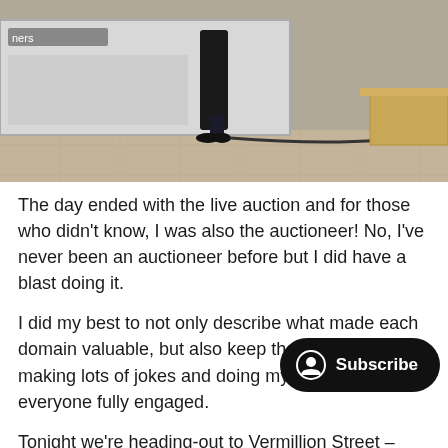[Figure (photo): A photograph showing a person standing near large equipment boxes on a paved outdoor area.]
The day ended with the live auction and for those who didn't know, I was also the auctioneer! No, I've never been an auctioneer before but I did have a blast doing it.
I did my best to not only describe what made each domain valuable, but also keep the mode light by making lots of jokes and doing my best to keep everyone fully engaged.
Tonight we're heading-out to Vermillion Street – an awesome bar in Manchester f... I just looked at the website for the bar and it looks amazing – it was designed by the same person that